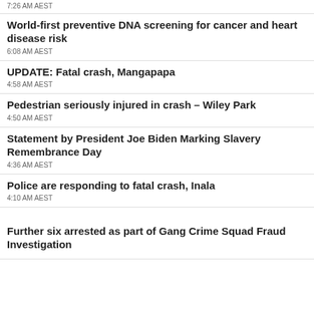7:26 AM AEST
World-first preventive DNA screening for cancer and heart disease risk
6:08 AM AEST
UPDATE: Fatal crash, Mangapapa
4:58 AM AEST
Pedestrian seriously injured in crash – Wiley Park
4:50 AM AEST
Statement by President Joe Biden Marking Slavery Remembrance Day
4:36 AM AEST
Police are responding to fatal crash, Inala
4:10 AM AEST
Further six arrested as part of Gang Crime Squad Fraud Investigation